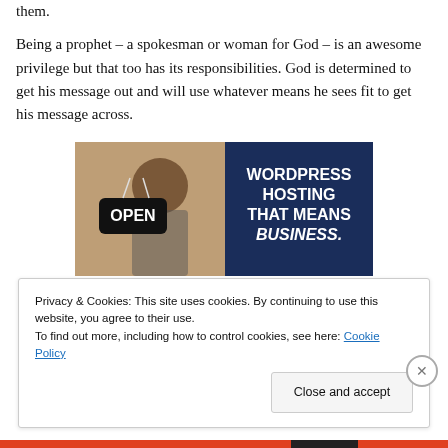them. Being a prophet – a spokesman or woman for God – is an awesome privilege but that too has its responsibilities. God is determined to get his message out and will use whatever means he sees fit to get his message across.
[Figure (illustration): Advertisement banner: woman holding an OPEN sign on the left half (photo), right half is dark navy blue with white bold text reading 'WORDPRESS HOSTING THAT MEANS BUSINESS.']
Privacy & Cookies: This site uses cookies. By continuing to use this website, you agree to their use.
To find out more, including how to control cookies, see here: Cookie Policy